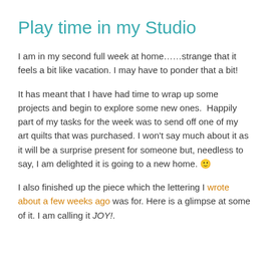Play time in my Studio
I am in my second full week at home……strange that it feels a bit like vacation. I may have to ponder that a bit!
It has meant that I have had time to wrap up some projects and begin to explore some new ones.  Happily part of my tasks for the week was to send off one of my art quilts that was purchased. I won't say much about it as it will be a surprise present for someone but, needless to say, I am delighted it is going to a new home. 🙂
I also finished up the piece which the lettering I wrote about a few weeks ago was for. Here is a glimpse at some of it. I am calling it JOY!.